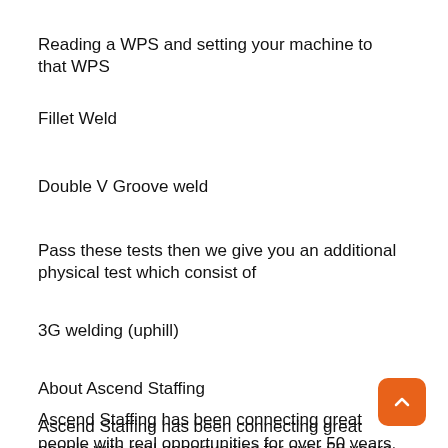Reading a WPS and setting your machine to that WPS
Fillet Weld
Double V Groove weld
Pass these tests then we give you an additional physical test which consist of
3G welding (uphill)
About Ascend Staffing
Ascend Staffing has been connecting great people with real opportunities for over 50 years. We are always looking for great people. If you re ready to